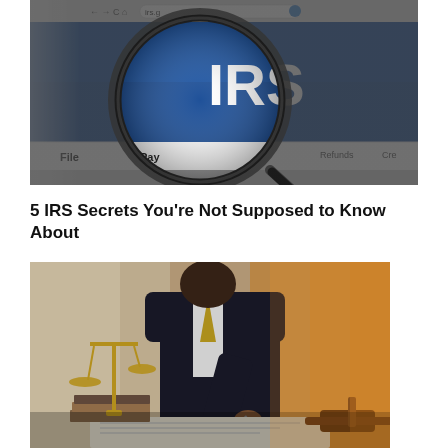[Figure (photo): Magnifying glass focused on IRS website homepage showing the IRS eagle logo and 'IRS' text on blue background, with browser navigation bar showing 'irs.g' URL and nav items File, Pay, Refunds]
5 IRS Secrets You're Not Supposed to Know About
[Figure (photo): Legal professional scene with golden scales of justice in foreground, lawyer in dark suit writing/signing documents, gavel visible on the right, warm golden light]